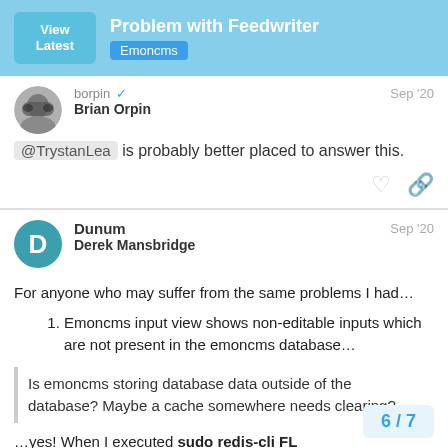Problem with Feedwriter | Emoncms
borpin ✓ Brian Orpin Sep '20
@TrystanLea is probably better placed to answer this.
Dunum Derek Mansbridge Sep '20
For anyone who may suffer from the same problems I had...
Emoncms input view shows non-editable inputs which are not present in the emoncms database...
Is emoncms storing database data outside of the database? Maybe a cache somewhere needs clearing?
...yes! When I executed sudo redis-cli FL
6 / 7